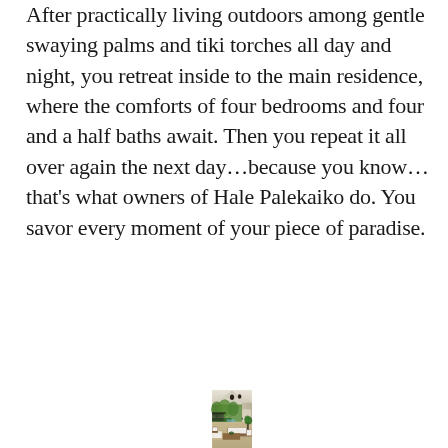After practically living outdoors among gentle swaying palms and tiki torches all day and night, you retreat inside to the main residence, where the comforts of four bedrooms and four and a half baths await. Then you repeat it all over again the next day…because you know…that's what owners of Hale Palekaiko do. You savor every moment of your piece of paradise.
[Figure (photo): Outdoor covered living area of a luxury Hawaiian estate, showing a spacious lanai with vaulted white ceiling, hanging woven pendant lights, stone/travertine columns and walls, comfortable wicker furniture with white cushions, a wooden coffee table with tropical plant centerpiece, lush green tropical landscaping and palm trees visible beyond, pool glimpsed in background, and an adjacent structure in the distance.]